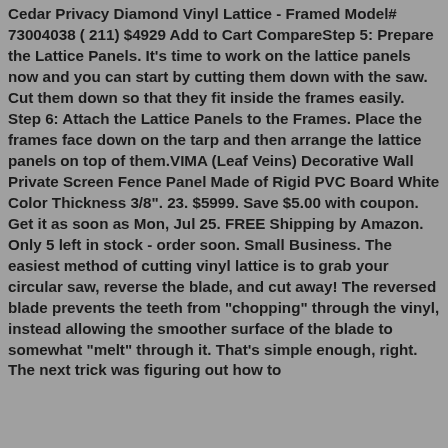Cedar Privacy Diamond Vinyl Lattice - Framed Model# 73004038 ( 211) $4929 Add to Cart CompareStep 5: Prepare the Lattice Panels. It's time to work on the lattice panels now and you can start by cutting them down with the saw. Cut them down so that they fit inside the frames easily. Step 6: Attach the Lattice Panels to the Frames. Place the frames face down on the tarp and then arrange the lattice panels on top of them.VIMA (Leaf Veins) Decorative Wall Private Screen Fence Panel Made of Rigid PVC Board White Color Thickness 3/8". 23. $5999. Save $5.00 with coupon. Get it as soon as Mon, Jul 25. FREE Shipping by Amazon. Only 5 left in stock - order soon. Small Business. The easiest method of cutting vinyl lattice is to grab your circular saw, reverse the blade, and cut away! The reversed blade prevents the teeth from "chopping" through the vinyl, instead allowing the smoother surface of the blade to somewhat "melt" through it. That's simple enough, right. The next trick was figuring out how to